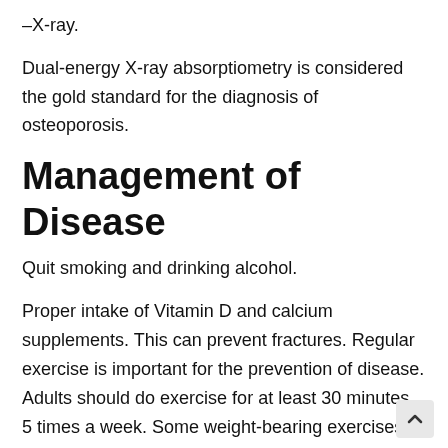–X-ray.
Dual-energy X-ray absorptiometry is considered the gold standard for the diagnosis of osteoporosis.
Management of Disease
Quit smoking and drinking alcohol.
Proper intake of Vitamin D and calcium supplements. This can prevent fractures. Regular exercise is important for the prevention of disease. Adults should do exercise for at least 30 minutes, 5 times a week. Some weight-bearing exercises are very beneficial.
Other less known as osteoporosis-